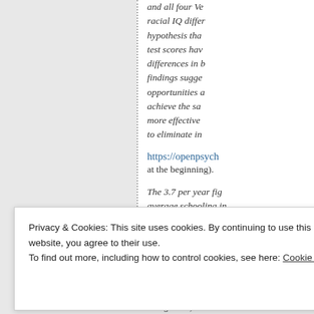and all four Ve racial IQ differ hypothesis tha test scores hav differences in b findings sugge opportunities a achieve the sa more effective to eliminate in
https://openpsych
at the beginning).
The 3.7 per year fig average schooling in That was the point a
Privacy & Cookies: This site uses cookies. By continuing to use this website, you agree to their use. To find out more, including how to control cookies, see here: Cookie Policy
Close and accept
background).